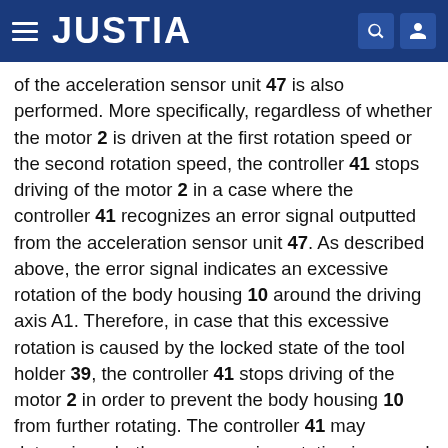JUSTIA
of the acceleration sensor unit 47 is also performed. More specifically, regardless of whether the motor 2 is driven at the first rotation speed or the second rotation speed, the controller 41 stops driving of the motor 2 in a case where the controller 41 recognizes an error signal outputted from the acceleration sensor unit 47. As described above, the error signal indicates an excessive rotation of the body housing 10 around the driving axis A1. Therefore, in case that this excessive rotation is caused by the locked state of the tool holder 39, the controller 41 stops driving of the motor 2 in order to prevent the body housing 10 from further rotating. The controller 41 may determine whether an excessive rotation is caused or not, based on other information (for example, a torque acting on the tool accessory 91, or a driving current of the motor 2) in addition to the error signal. Further, it may be preferred that the